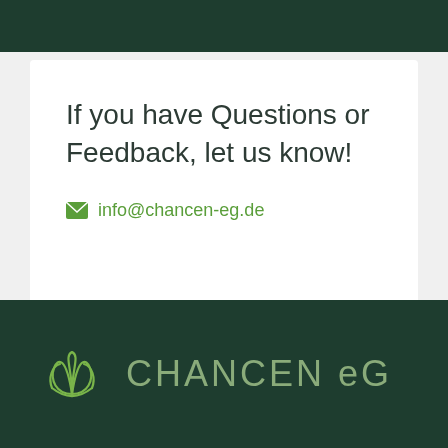If you have Questions or Feedback, let us know!
info@chancen-eg.de
[Figure (logo): CHANCEN eG logo with stylized lotus/flower icon in green outline on dark green background, with text CHANCEN eG in light green]